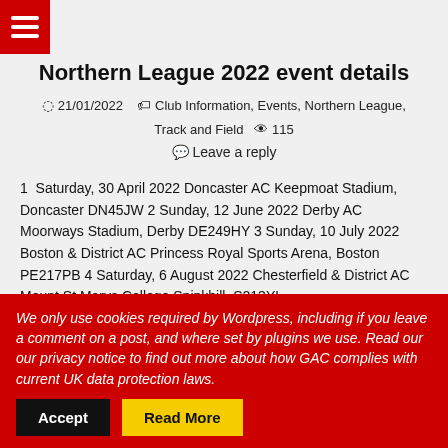Menu icon (hamburger) on red background
Northern League 2022 event details
21/01/2022   Club Information, Events, Northern League, Track and Field   115
Leave a reply
1  Saturday, 30 April 2022 Doncaster AC Keepmoat Stadium, Doncaster DN45JW 2 Sunday, 12 June 2022 Derby AC Moorways Stadium, Derby DE249HY 3 Sunday, 10 July 2022 Boston & District AC Princess Royal Sports Arena, Boston PE217PB 4 Saturday, 6 August 2022 Chesterfield & District AC  Mount St Marys College Spinkhill, S213YL
Read More
We only use cookies required by Wordpress, including if you leave a comment on a post, and where set by plugins we use. Read our our privacy notice to find out more about how GAC complies with current UK data protection laws.